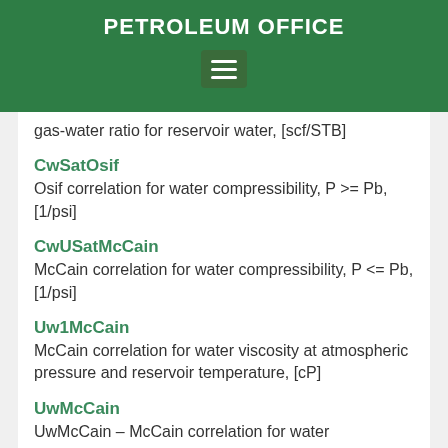PETROLEUM OFFICE
gas-water ratio for reservoir water, [scf/STB]
CwSatOsif
Osif correlation for water compressibility, P >= Pb, [1/psi]
CwUSatMcCain
McCain correlation for water compressibility, P <= Pb, [1/psi]
Uw1McCain
McCain correlation for water viscosity at atmospheric pressure and reservoir temperature, [cP]
UwMcCain
UwMcCain – McCain correlation for water viscosity, [cP]